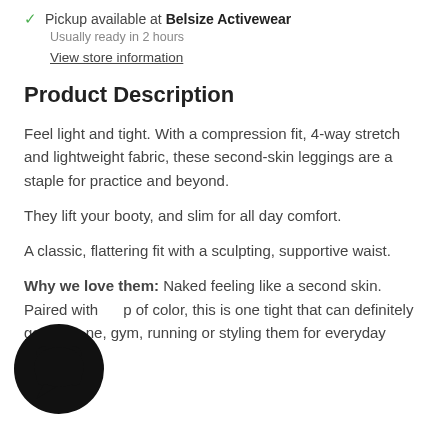✓ Pickup available at Belsize Activewear
Usually ready in 2 hours
View store information
Product Description
Feel light and tight. With a compression fit, 4-way stretch and lightweight fabric, these second-skin leggings are a staple for practice and beyond.
They lift your booty, and slim for all day comfort.
A classic, flattering fit with a sculpting, supportive waist.
Why we love them: Naked feeling like a second skin. Paired with a pop of color, this is one tight that can definitely go places, home, gym, running or styling them for everyday walk.
[Figure (illustration): Chat bubble / messaging icon, circular black icon overlapping the bottom-left text area]